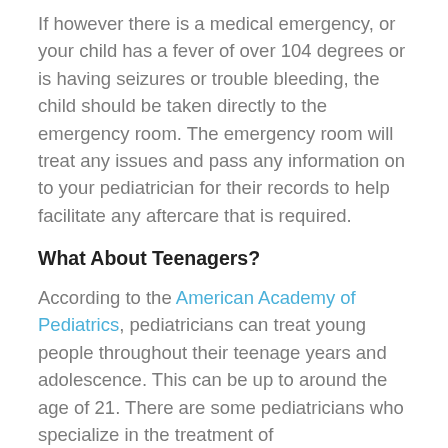If however there is a medical emergency, or your child has a fever of over 104 degrees or is having seizures or trouble bleeding, the child should be taken directly to the emergency room. The emergency room will treat any issues and pass any information on to your pediatrician for their records to help facilitate any aftercare that is required.
What About Teenagers?
According to the American Academy of Pediatrics, pediatricians can treat young people throughout their teenage years and adolescence. This can be up to around the age of 21. There are some pediatricians who specialize in the treatment of